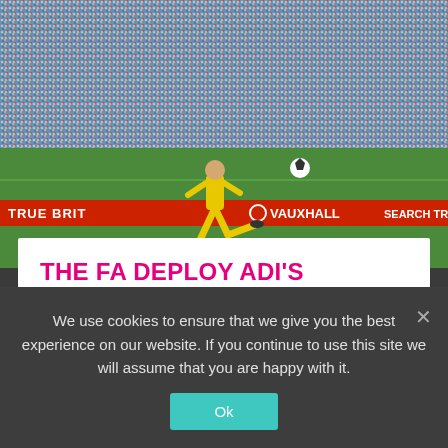[Figure (photo): Football match photo: England goalkeeper in yellow kit kicking ball at stadium, crowd in background. Advertisements including Vauxhall and True Brit visible on perimeter boards.]
THE FA DEPLOY ADI'S VIRTUAL HYBRID DIGIBOARD TECH
FA deliver virtual advertising in England's World Cup warm up match The Football Association (FA) has delivered a world first in international football by deploying Virtual
We use cookies to ensure that we give you the best experience on our website. If you continue to use this site we will assume that you are happy with it.